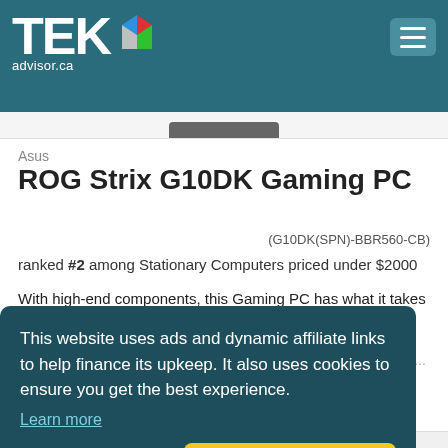TEKadvisor.ca
[Figure (screenshot): Partial view of a laptop/PC product image at the top]
Asus
ROG Strix G10DK Gaming PC
(G10DK(SPN)-BBR560-CB)
ranked #2 among Stationary Computers priced under $2000
With high-end components, this Gaming PC has what it takes to handle demanding AAA games and creative software out there. It ...
This website uses ads and dynamic affiliate links to help finance its upkeep. It also uses cookies to ensure you get the best experience. Learn more
Opt for blind (non-targeted) ads
Keep targeted ads